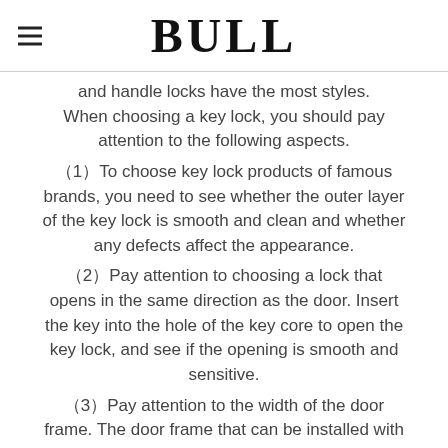BULL
and handle locks have the most styles. When choosing a key lock, you should pay attention to the following aspects.
(1) To choose key lock products of famous brands, you need to see whether the outer layer of the key lock is smooth and clean and whether any defects affect the appearance.
(2) Pay attention to choosing a lock that opens in the same direction as the door. Insert the key into the hole of the key core to open the key lock, and see if the opening is smooth and sensitive.
(3) Pay attention to the width of the door frame. The door frame that can be installed with